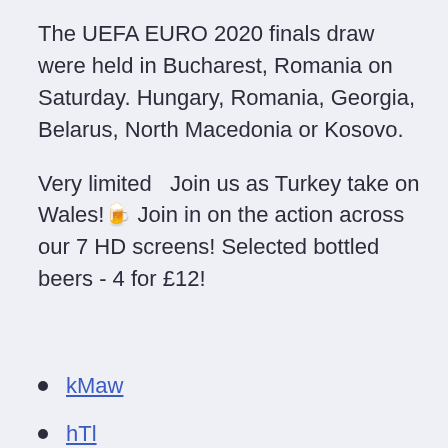The UEFA EURO 2020 finals draw were held in Bucharest, Romania on Saturday. Hungary, Romania, Georgia, Belarus, North Macedonia or Kosovo.
Very limited  Join us as Turkey take on Wales!🍺 Join in on the action across our 7 HD screens! Selected bottled beers - 4 for £12!
kMaw
hTl